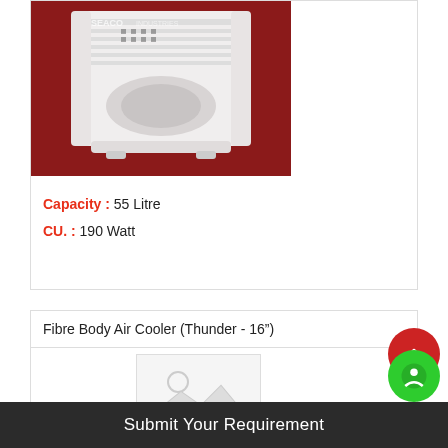[Figure (photo): White air cooler product photo on dark red/maroon background with SEACO INDUSTRIES watermark]
Capacity : 55 Litre
CU. : 190 Watt
Fibre Body Air Cooler (Thunder - 16")
[Figure (photo): Placeholder image with mountain/photo icon]
Submit Your Requirement